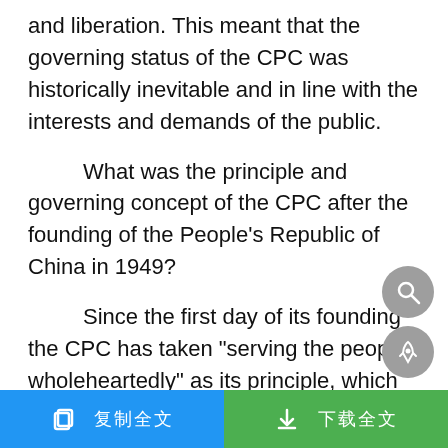and liberation. This meant that the governing status of the CPC was historically inevitable and in line with the interests and demands of the public.
What was the principle and governing concept of the CPC after the founding of the People's Republic of China in 1949?
Since the first day of its founding the CPC has taken "serving the people wholeheartedly" as its principle, which has been written into the Party Constitution. In 1944, Mao Zedong made a speech entitled "Serving the People Wholeheartedly," in which he said, "Our Communist Party and the Eighth Route and New Fourth Armies led by our Party are battalions of the revolution. These battalions of
复制全文  下载全文